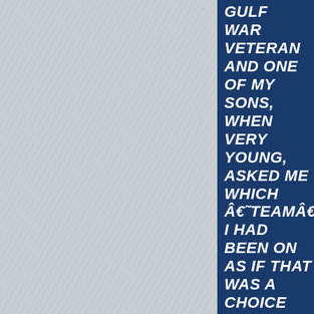[Figure (photo): Light gray textured background resembling paper or fabric with subtle patterns]
Gulf War veteran and one of my sons, when very young, asked me which Â€˜teamÂ€™ I had been on as if that was a choice